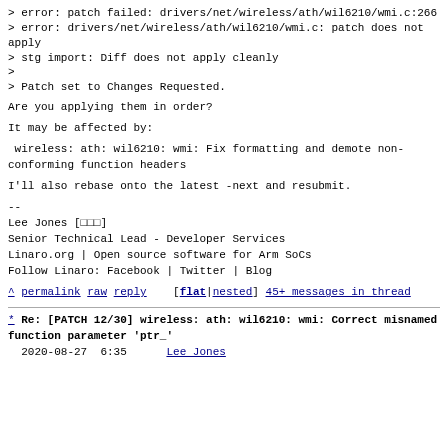> error: patch failed: drivers/net/wireless/ath/wil6210/wmi.c:266
> error: drivers/net/wireless/ath/wil6210/wmi.c: patch does not apply
> stg import: Diff does not apply cleanly
>
> Patch set to Changes Requested.
Are you applying them in order?
It may be affected by:
wireless: ath: wil6210: wmi: Fix formatting and demote non-conforming function headers
I'll also rebase onto the latest -next and resubmit.
--
Lee Jones [□□□]
Senior Technical Lead - Developer Services
Linaro.org | Open source software for Arm SoCs
Follow Linaro: Facebook | Twitter | Blog
^ permalink raw reply [flat|nested] 45+ messages in thread
* Re: [PATCH 12/30] wireless: ath: wil6210: wmi: Correct misnamed function parameter 'ptr_'
2020-08-27 6:35 Lee Jones